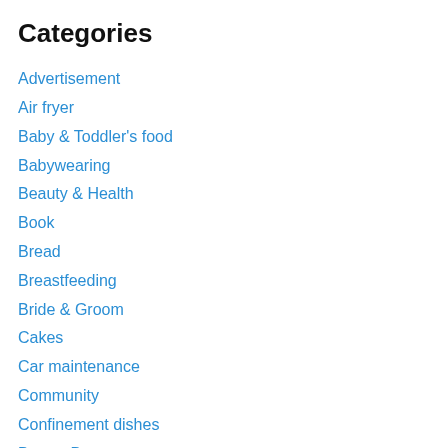Categories
Advertisement
Air fryer
Baby & Toddler's food
Babywearing
Beauty & Health
Book
Bread
Breastfeeding
Bride & Groom
Cakes
Car maintenance
Community
Confinement dishes
Day-to-Day
Double boiled cuisines
Family planning
Fashion wear & accessories
Florist & Gift